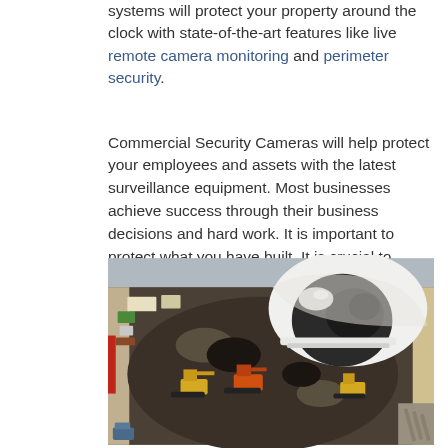systems will protect your property around the clock with state-of-the-art features like live remote camera monitoring and perimeter security.
Commercial Security Cameras will help protect your employees and assets with the latest surveillance equipment. Most businesses achieve success through their business decisions and hard work. It is important to protect what you have built. It is crucial to detect potential threats early and hold those accountable in order to protect employees and prevent loss. CCTV Agent can design a security system that meets your specific security needs.
[Figure (photo): Aerial view of a construction site with excavators and equipment on a dirt lot, overlaid with a white dome security camera in the foreground upper right.]